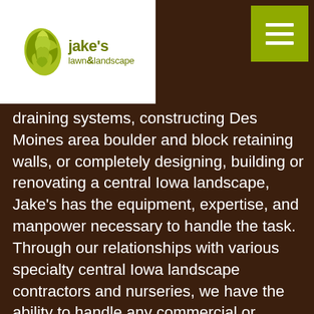Jake's Lawn & Landscape logo and navigation menu
draining systems, constructing Des Moines area boulder and block retaining walls, or completely designing, building or renovating a central Iowa landscape, Jake's has the equipment, expertise, and manpower necessary to handle the task. Through our relationships with various specialty central Iowa landscape contractors and nurseries, we have the ability to handle any commercial or residential landscape design / build or installation project in Des Moines, West Des Moines, Indianola, Norwalk, Waukee, and other central Iowa communities.